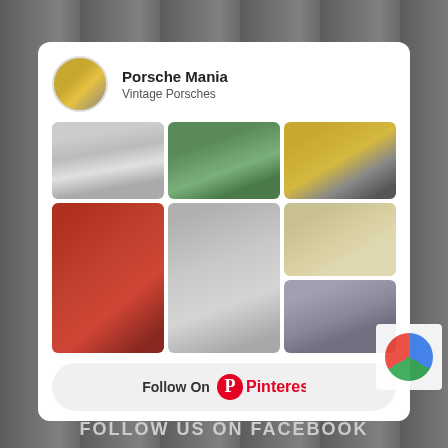Porsche Mania
Vintage Porsches
[Figure (photo): Pinterest board widget showing 6 photos of vintage Porsche 356 cars in various colors and settings, with a 'Follow On Pinterest' button below]
Follow On Pinterest
FOLLOW US ON FACEBOOK